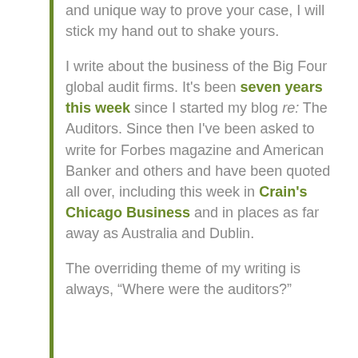and unique way to prove your case, I will stick my hand out to shake yours.

I write about the business of the Big Four global audit firms. It's been seven years this week since I started my blog re: The Auditors. Since then I've been asked to write for Forbes magazine and American Banker and others and have been quoted all over, including this week in Crain's Chicago Business and in places as far away as Australia and Dublin.

The overriding theme of my writing is always, “Where were the auditors?”